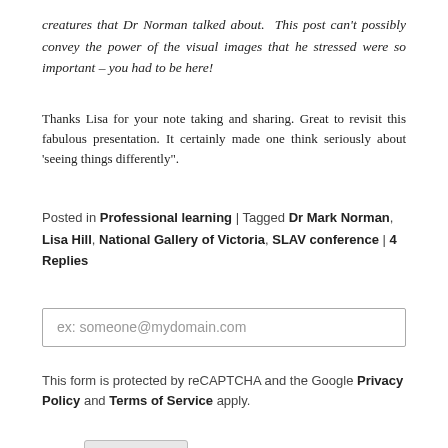creatures that Dr Norman talked about.  This post can't possibly convey the power of the visual images that he stressed were so important – you had to be here!
Thanks Lisa for your note taking and sharing. Great to revisit this fabulous presentation. It certainly made one think seriously about 'seeing things differently".
Posted in Professional learning | Tagged Dr Mark Norman, Lisa Hill, National Gallery of Victoria, SLAV conference | 4 Replies
ex: someone@mydomain.com
This form is protected by reCAPTCHA and the Google Privacy Policy and Terms of Service apply.
Subscribe